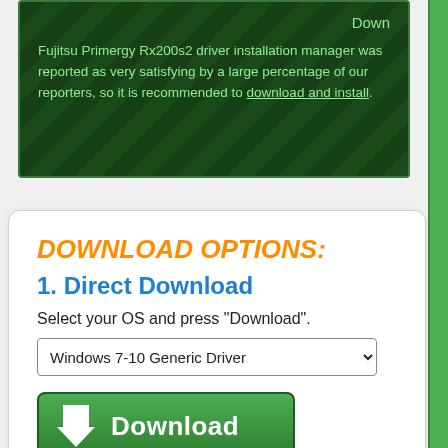Down
Fujitsu Primergy Rx200s2 driver installation manager was reported as very satisfying by a large percentage of our reporters, so it is recommended to download and install.
DOWNLOAD OPTIONS:
1. Direct Download
Select your OS and press "Download".
Windows 7-10 Generic Driver
Download